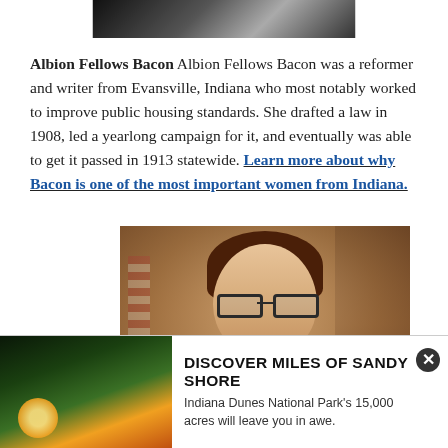[Figure (photo): Black and white photograph, partially cropped at top]
Albion Fellows Bacon Albion Fellows Bacon was a reformer and writer from Evansville, Indiana who most notably worked to improve public housing standards. She drafted a law in 1908, led a yearlong campaign for it, and eventually was able to get it passed in 1913 statewide. Learn more about why Bacon is one of the most important women from Indiana.
[Figure (photo): Portrait photo of a woman with dark hair and glasses, wearing a dark top, with an American flag and bookshelf in the background]
[Figure (photo): Advertisement photo showing a sandy shore/dune landscape at sunset]
DISCOVER MILES OF SANDY SHORE
Indiana Dunes National Park's 15,000 acres will leave you in awe.